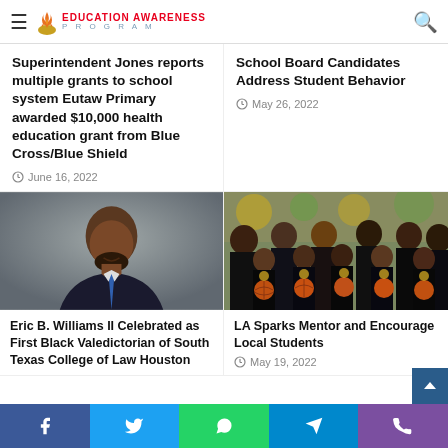Education Awareness Program
Superintendent Jones reports multiple grants to school system Eutaw Primary awarded $10,000 health education grant from Blue Cross/Blue Shield
June 16, 2022
School Board Candidates Address Student Behavior
May 26, 2022
[Figure (photo): Portrait photo of Eric B. Williams II, a bald Black man with a beard wearing a suit and blue tie, photographed against a grey background]
Eric B. Williams II Celebrated as First Black Valedictorian of South Texas College of Law Houston
[Figure (photo): Group photo of young girls in black basketball uniforms holding basketballs, with adults behind them, in front of a green and yellow decorated background]
LA Sparks Mentor and Encourage Local Students
May 19, 2022
Facebook | Twitter | WhatsApp | Telegram | Phone